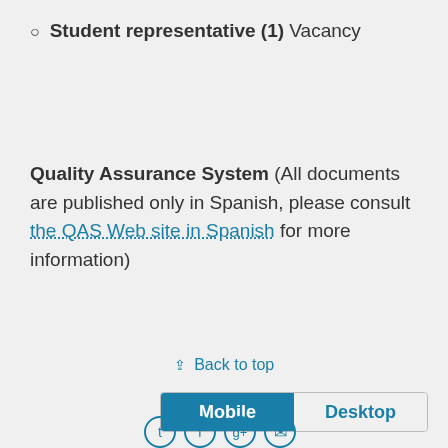Student representative (1) Vacancy
Quality Assurance System (All documents are published only in Spanish, please consult the QAS Web site in Spanish for more information)
⇪ Back to top
Mobile  Desktop